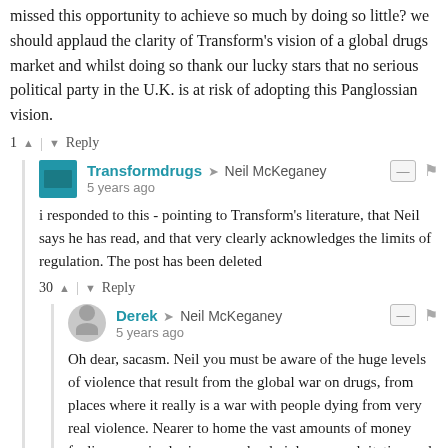missed this opportunity to achieve so much by doing so little? we should applaud the clarity of Transform's vision of a global drugs market and whilst doing so thank our lucky stars that no serious political party in the U.K. is at risk of adopting this Panglossian vision.
1 ▲ | ▼ Reply
Transformdrugs → Neil McKeganey
5 years ago
i responded to this - pointing to Transform's literature, that Neil says he has read, and that very clearly acknowledges the limits of regulation. The post has been deleted
30 ▲ | ▼ Reply
Derek → Neil McKeganey
5 years ago
Oh dear, sacasm. Neil you must be aware of the huge levels of violence that result from the global war on drugs, from places where it really is a war with people dying from very real violence. Nearer to home the vast amounts of money fueling organised crime, gangland violence, exploitation and corruption are very real. Quite how you can argue that removing the